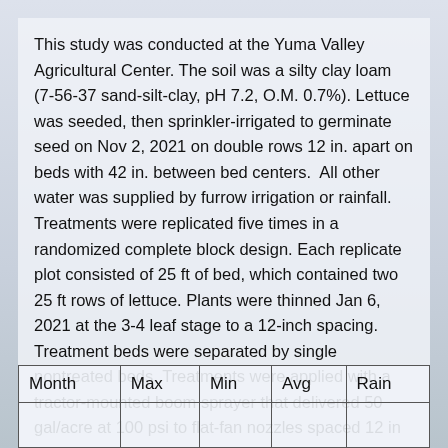This study was conducted at the Yuma Valley Agricultural Center. The soil was a silty clay loam (7-56-37 sand-silt-clay, pH 7.2, O.M. 0.7%). Lettuce was seeded, then sprinkler-irrigated to germinate seed on Nov 2, 2021 on double rows 12 in. apart on beds with 42 in. between bed centers.  All other water was supplied by furrow irrigation or rainfall. Treatments were replicated five times in a randomized complete block design. Each replicate plot consisted of 25 ft of bed, which contained two 25 ft rows of lettuce. Plants were thinned Jan 6, 2021 at the 3-4 leaf stage to a 12-inch spacing. Treatment beds were separated by single nontreated beds. Treatments were applied with a tractor-mounted boom sprayer that delivered 50 gal/acre at 100 psi to flat-fan nozzles spaced 12 in apart.
| Month | Max | Min | Avg | Rain |
| --- | --- | --- | --- | --- |